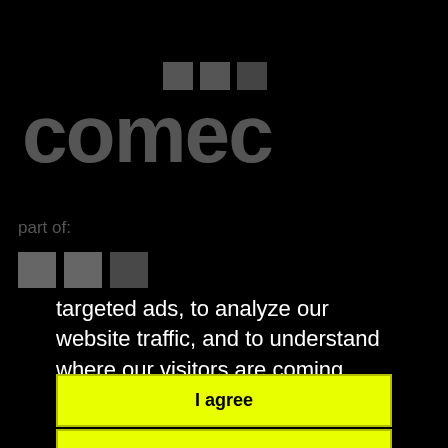[Figure (logo): Comec logo in dark grey on black background, featuring stylized text 'comec' with three square dots above the 'e' letters]
part of:
[Figure (logo): Three grey squares forming a partial logo, likely a parent company brand]
targeted ads, to analyze our website traffic, and to understand where our visitors are coming from.
I agree
I decline
Change my preferences